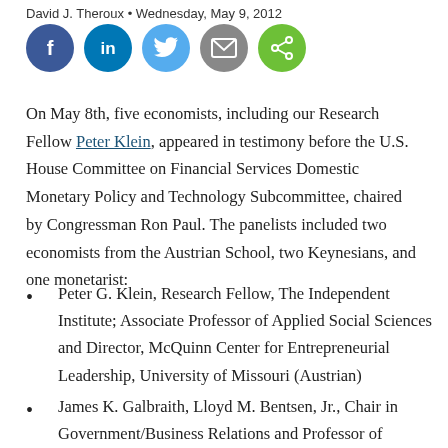David J. Theroux • Wednesday, May 9, 2012
[Figure (illustration): Five social media sharing icon circles: Facebook (blue, f), LinkedIn (blue, in), Twitter (light blue, bird), Email (grey, envelope), Share (green, share icon)]
On May 8th, five economists, including our Research Fellow Peter Klein, appeared in testimony before the U.S. House Committee on Financial Services Domestic Monetary Policy and Technology Subcommittee, chaired by Congressman Ron Paul. The panelists included two economists from the Austrian School, two Keynesians, and one monetarist:
Peter G. Klein, Research Fellow, The Independent Institute; Associate Professor of Applied Social Sciences and Director, McQuinn Center for Entrepreneurial Leadership, University of Missouri (Austrian)
James K. Galbraith, Lloyd M. Bentsen, Jr., Chair in Government/Business Relations and Professor of Government, University of Texas (Keynesian)
Jeffrey M. Herbener, Professor of Economics, Grove City...